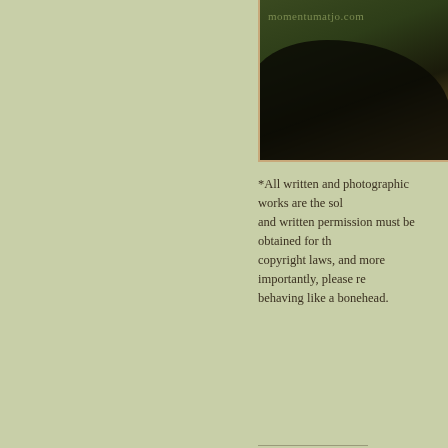[Figure (photo): Close-up photograph of a dark curved object (appears to be a bicycle handlebar or similar) against a green background, with watermark text 'momentumatjo.com' visible in upper left of photo]
*All written and photographic works are the sol and written permission must be obtained for th copyright laws, and more importantly, please re behaving like a bonehead.
Share this:
Twitter
Facebook
Pinterest
Email
Print
LinkedIn
Pocket
Telegram
Loading...